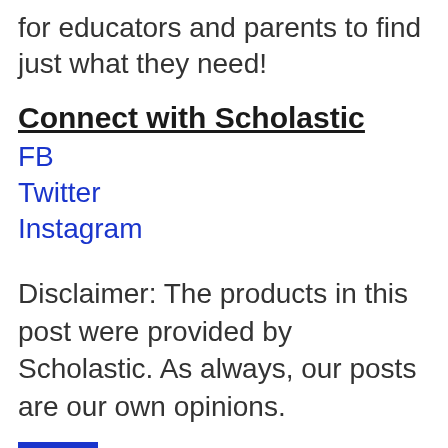for educators and parents to find just what they need!
Connect with Scholastic
FB
Twitter
Instagram
Disclaimer: The products in this post were provided by Scholastic. As always, our posts are our own opinions.
at 6:37 AM